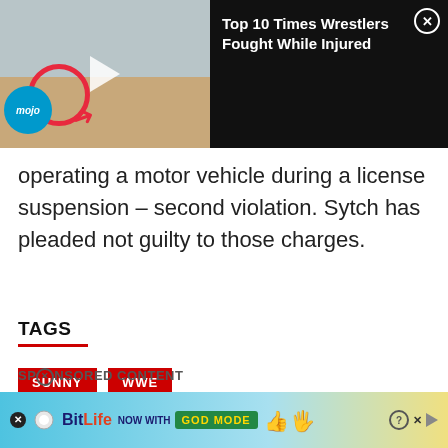[Figure (screenshot): Video thumbnail banner for 'Top 10 Times Wrestlers Fought While Injured' with WatchMojo branding on dark background]
operating a motor vehicle during a license suspension – second violation. Sytch has pleaded not guilty to those charges.
TAGS
SUNNY
WWE
SPONSORED CONTENT
[Figure (screenshot): BitLife ad banner: 'NOW WITH GOD MODE' on blue/yellow gradient background with close button and help icons]